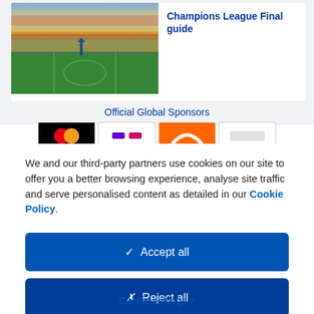[Figure (screenshot): Partial website view showing a Champions League Final guide card with stadium photo on the left and blue title text on the right, above a section labeled Official Global Sponsors with sponsor logos]
Champions League Final guide
Official Global Sponsors
We and our third-party partners use cookies on our site to offer you a better browsing experience, analyse site traffic and serve personalised content as detailed in our Cookie Policy.
✓  Accept all
✗  Reject all
Cookie settings >